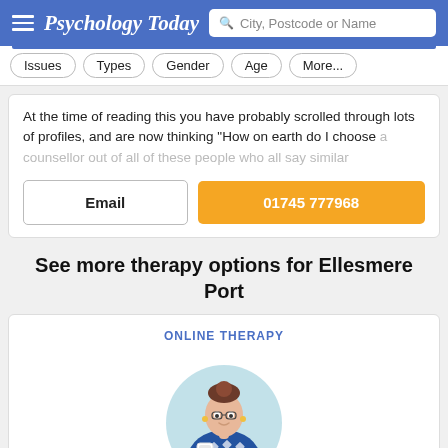Psychology Today | City, Postcode or Name
Issues
Types
Gender
Age
More...
At the time of reading this you have probably scrolled through lots of profiles, and are now thinking "How on earth do I choose a counsellor out of all of these people who all say similar
Email
01745 777968
See more therapy options for Ellesmere Port
ONLINE THERAPY
[Figure (illustration): Illustrated woman with hair in a bun, wearing a blue patterned shirt, holding a white cup, set against a light blue circular background]